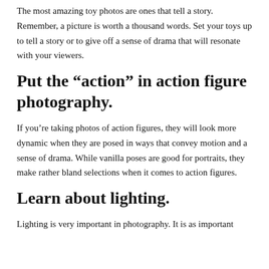The most amazing toy photos are ones that tell a story. Remember, a picture is worth a thousand words. Set your toys up to tell a story or to give off a sense of drama that will resonate with your viewers.
Put the “action” in action figure photography.
If you’re taking photos of action figures, they will look more dynamic when they are posed in ways that convey motion and a sense of drama. While vanilla poses are good for portraits, they make rather bland selections when it comes to action figures.
Learn about lighting.
Lighting is very important in photography. It is as important